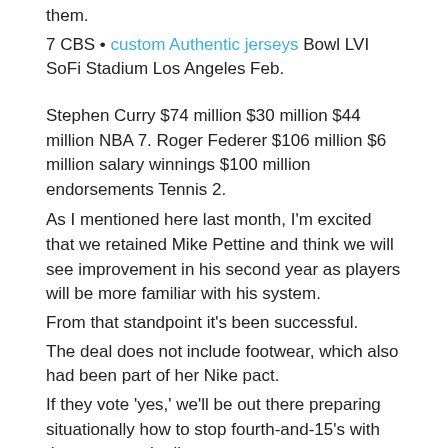them.
7 CBS • custom Authentic jerseys Bowl LVI SoFi Stadium Los Angeles Feb.
Stephen Curry $74 million $30 million $44 million NBA 7. Roger Federer $106 million $6 million salary winnings $100 million endorsements Tennis 2.
As I mentioned here last month, I'm excited that we retained Mike Pettine and think we will see improvement in his second year as players will be more familiar with his system.
From that standpoint it's been successful.
The deal does not include footwear, which also had been part of her Nike pact.
If they vote 'yes,' we'll be out there preparing situationally how to stop fourth-and-15's with the game on the line.
Kevin Durant $63 million $28 million $35 million NBA 8.
The offensive line, Sony Michel, Rex Burkhead and N'Keal